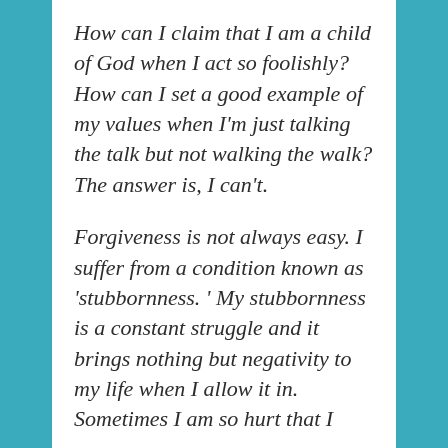How can I claim that I am a child of God when I act so foolishly? How can I set a good example of my values when I'm just talking the talk but not walking the walk? The answer is, I can't.
Forgiveness is not always easy. I suffer from a condition known as 'stubbornness. ' My stubbornness is a constant struggle and it brings nothing but negativity to my life when I allow it in. Sometimes I am so hurt that I [continues]